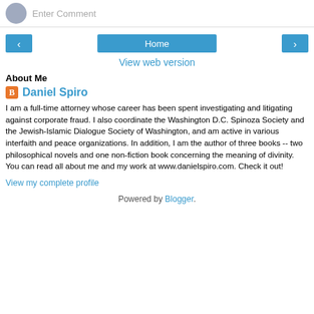[Figure (other): User avatar circle (grey) and 'Enter Comment' placeholder text input area at top]
[Figure (other): Navigation buttons: left arrow, Home button, right arrow in blue]
View web version
About Me
Daniel Spiro
I am a full-time attorney whose career has been spent investigating and litigating against corporate fraud. I also coordinate the Washington D.C. Spinoza Society and the Jewish-Islamic Dialogue Society of Washington, and am active in various interfaith and peace organizations. In addition, I am the author of three books -- two philosophical novels and one non-fiction book concerning the meaning of divinity. You can read all about me and my work at www.danielspiro.com. Check it out!
View my complete profile
Powered by Blogger.